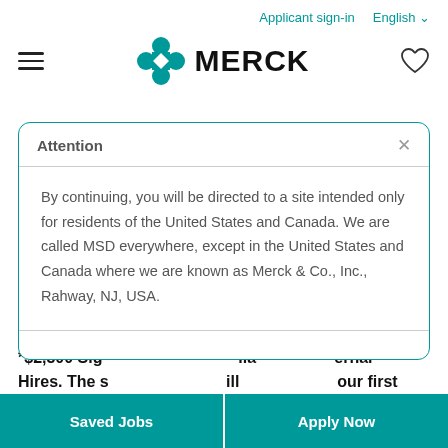Applicant sign-in   English
[Figure (logo): Merck logo with teal hourglass/cross icon and MERCK wordmark in black bold text, hamburger menu icon on left, heart icon on right]
Attention
By continuing, you will be directed to a site intended only for residents of the United States and Canada. We are called MSD everywhere, except in the United States and Canada where we are known as Merck & Co., Inc., Rahway, NJ, USA.
*$2,500 Sig[...] erna Hires. The s[...] our first
Saved Jobs   Apply Now